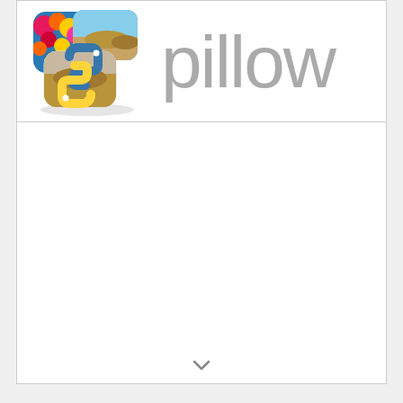[Figure (logo): Pillow Python imaging library logo: Python snake icon overlaid with flower and landscape photos, next to the word 'pillow' in large gray text]
[Figure (other): Empty white panel below the logo, representing a blank content area with a downward arrow at the bottom]